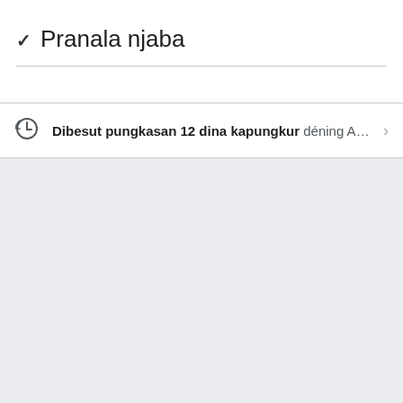Pranala njaba
Dibesut pungkasan 12 dina kapungkur déning Ans…